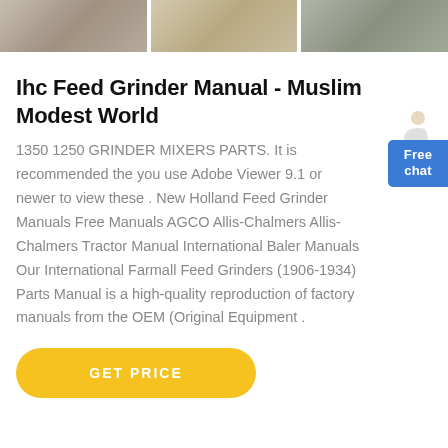[Figure (photo): Three thumbnail images at the top showing industrial/grinder equipment scenes]
Ihc Feed Grinder Manual - Muslim Modest World
1350 1250 GRINDER MIXERS PARTS. It is recommended the you use Adobe Viewer 9.1 or newer to view these . New Holland Feed Grinder Manuals Free Manuals AGCO Allis-Chalmers Allis-Chalmers Tractor Manual International Baler Manuals Our International Farmall Feed Grinders (1906-1934) Parts Manual is a high-quality reproduction of factory manuals from the OEM (Original Equipment .
[Figure (illustration): Free chat button with a person/avatar icon, blue rounded rectangle button with text 'Free chat']
GET PRICE